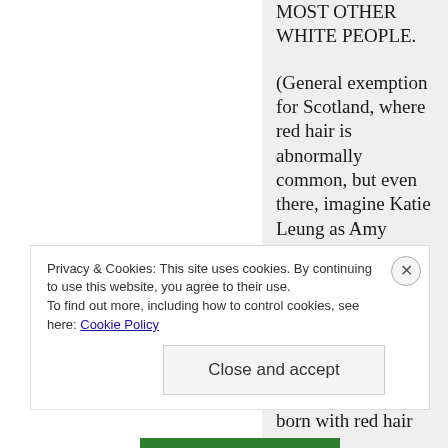MOST OTHER WHITE PEOPLE.

(General exemption for Scotland, where red hair is abnormally common, but even there, imagine Katie Leung as Amy Pond.)

Tumblr had something to say about it last year, but then it was decided that being born with red hair
Privacy & Cookies: This site uses cookies. By continuing to use this website, you agree to their use.
To find out more, including how to control cookies, see here: Cookie Policy